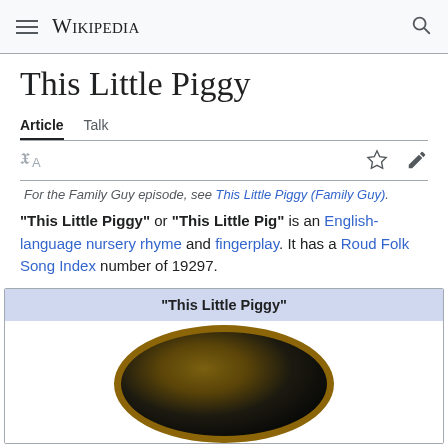Wikipedia
This Little Piggy
Article  Talk
For the Family Guy episode, see This Little Piggy (Family Guy).
"This Little Piggy" or "This Little Pig" is an English-language nursery rhyme and fingerplay. It has a Roud Folk Song Index number of 19297.
| "This Little Piggy" |
| --- |
| [image of daguerreotype] |